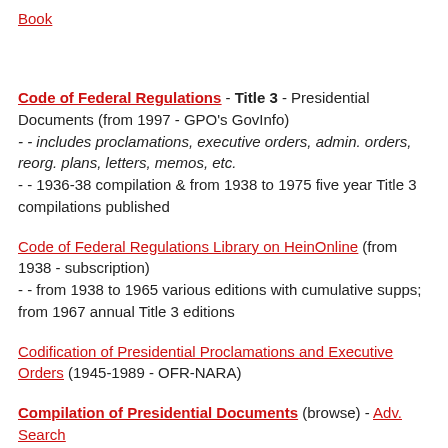Book
Code of Federal Regulations - Title 3 - Presidential Documents (from 1997 - GPO's GovInfo)
- - includes proclamations, executive orders, admin. orders, reorg. plans, letters, memos, etc.
- - 1936-38 compilation & from 1938 to 1975 five year Title 3 compilations published
Code of Federal Regulations Library on HeinOnline (from 1938 - subscription)
- - from 1938 to 1965 various editions with cumulative supps; from 1967 annual Title 3 editions
Codification of Presidential Proclamations and Executive Orders (1945-1989 - OFR-NARA)
Compilation of Presidential Documents (browse) - Adv. Search